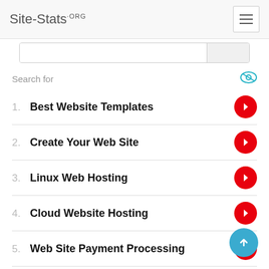Site-Stats.ORG
Search for
1. Best Website Templates
2. Create Your Web Site
3. Linux Web Hosting
4. Cloud Website Hosting
5. Web Site Payment Processing
6. Free Podcasting Sites
Ad | Business Focus